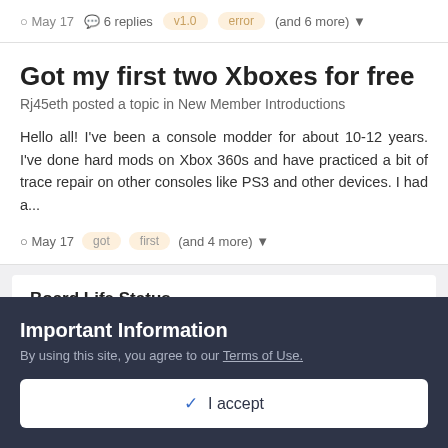May 17  6 replies  v1.0  error  (and 6 more)
Got my first two Xboxes for free
Rj45eth posted a topic in New Member Introductions
Hello all! I've been a console modder for about 10-12 years. I've done hard mods on Xbox 360s and have practiced a bit of trace repair on other consoles like PS3 and other devices. I had a...
May 17  got  first  (and 4 more)
Board Life Status
Important Information
By using this site, you agree to our Terms of Use.
✓ I accept